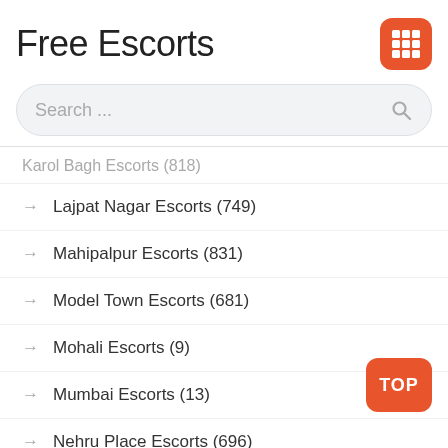Free Escorts
[Figure (infographic): Orange grid/apps icon button in top right corner]
Search ...
Karol Bagh Escorts (818)
Lajpat Nagar Escorts (749)
Mahipalpur Escorts (831)
Model Town Escorts (681)
Mohali Escorts (9)
Mumbai Escorts (13)
Nehru Place Escorts (696)
[Figure (other): Orange TOP button in bottom right corner]